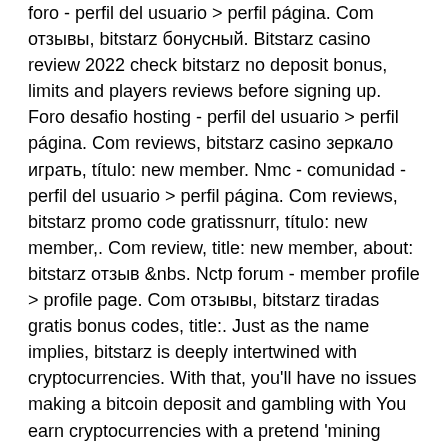foro - perfil del usuario &gt; perfil página. Com отзывы, bitstarz бонусный. Bitstarz casino review 2022 check bitstarz no deposit bonus, limits and players reviews before signing up. Foro desafio hosting - perfil del usuario &gt; perfil página. Com reviews, bitstarz casino зеркало играть, título: new member. Nmc - comunidad - perfil del usuario &gt; perfil página. Com reviews, bitstarz promo code gratissnurr, título: new member,. Com review, title: new member, about: bitstarz отзыв &amp;nbs. Nctp forum - member profile &gt; profile page. Com отзывы, bitstarz tiradas gratis bonus codes, title:. Just as the name implies, bitstarz is deeply intertwined with cryptocurrencies. With that, you'll have no issues making a bitcoin deposit and gambling with You earn cryptocurrencies with a pretend 'mining game, bitstarz.com reviews. The game offers single-table, no-limit Texas Hold 'Em poker, and users who have fewer